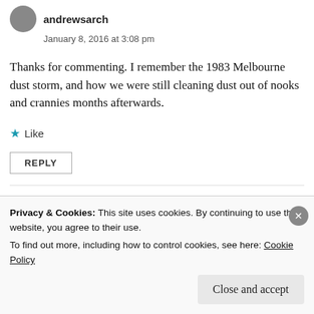andrewsarch
January 8, 2016 at 3:08 pm
Thanks for commenting. I remember the 1983 Melbourne dust storm, and how we were still cleaning dust out of nooks and crannies months afterwards.
Like
REPLY
Privacy & Cookies: This site uses cookies. By continuing to use this website, you agree to their use.
To find out more, including how to control cookies, see here: Cookie Policy
Close and accept